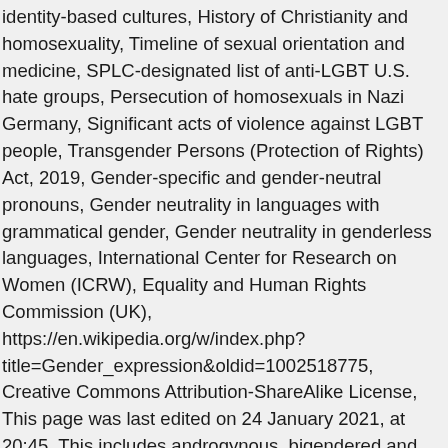identity-based cultures, History of Christianity and homosexuality, Timeline of sexual orientation and medicine, SPLC-designated list of anti-LGBT U.S. hate groups, Persecution of homosexuals in Nazi Germany, Significant acts of violence against LGBT people, Transgender Persons (Protection of Rights) Act, 2019, Gender-specific and gender-neutral pronouns, Gender neutrality in languages with grammatical gender, Gender neutrality in genderless languages, International Center for Research on Women (ICRW), Equality and Human Rights Commission (UK), https://en.wikipedia.org/w/index.php?title=Gender_expression&oldid=1002518775, Creative Commons Attribution-ShareAlike License, This page was last edited on 24 January 2021, at 20:45. This includes androgynous, bigendered and gender queer people, who tend to see traditional concepts of gender as restrictive. Gender identity is how a person sees themselves. Unlike sex characteristics which cannot be changed without medical intervention, gender expression usually refers to